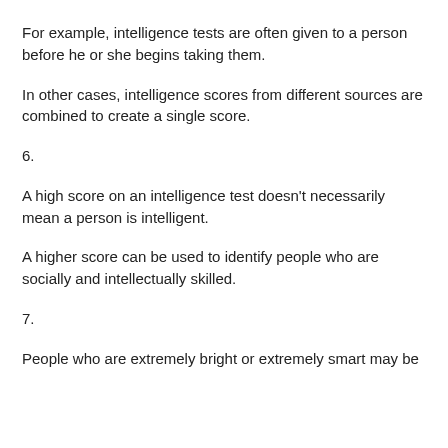For example, intelligence tests are often given to a person before he or she begins taking them.
In other cases, intelligence scores from different sources are combined to create a single score.
6.
A high score on an intelligence test doesn’t necessarily mean a person is intelligent.
A higher score can be used to identify people who are socially and intellectually skilled.
7.
People who are extremely bright or extremely smart may be